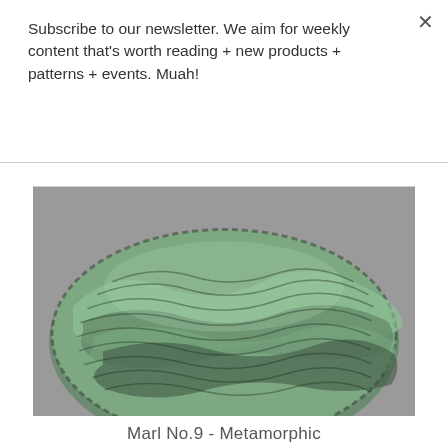Subscribe to our newsletter. We aim for weekly content that's worth reading + new products + patterns + events. Muah!
[Figure (photo): Close-up photograph of a skein of green and dark marl yarn ball on a grey background]
Marl No.9 - Metamorphic
$ 46.00